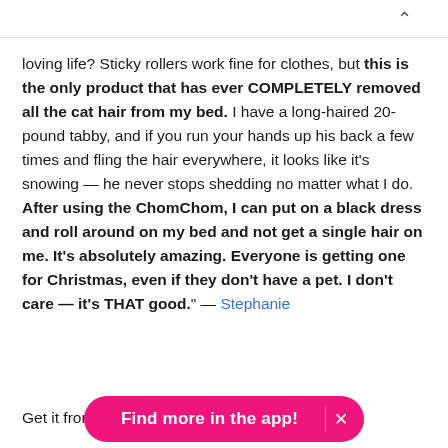^
loving life? Sticky rollers work fine for clothes, but this is the only product that has ever COMPLETELY removed all the cat hair from my bed. I have a long-haired 20-pound tabby, and if you run your hands up his back a few times and fling the hair everywhere, it looks like it's snowing — he never stops shedding no matter what I do. After using the ChomChom, I can put on a black dress and roll around on my bed and not get a single hair on me. It's absolutely amazing. Everyone is getting one for Christmas, even if they don't have a pet. I don't care — it's THAT good." — Stephanie
Get it from Amazon for $24.88.